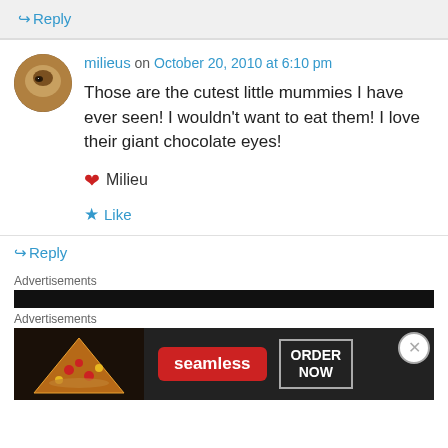↪ Reply
milieus on October 20, 2010 at 6:10 pm
Those are the cutest little mummies I have ever seen! I wouldn't want to eat them! I love their giant chocolate eyes!
❤ Milieu
★ Like
↪ Reply
Advertisements
[Figure (screenshot): Seamless food ordering advertisement banner with pizza image, seamless logo in red, and ORDER NOW button]
Advertisements